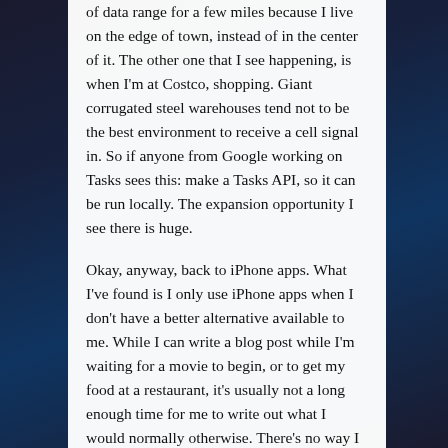of data range for a few miles because I live on the edge of town, instead of in the center of it. The other one that I see happening, is when I'm at Costco, shopping. Giant corrugated steel warehouses tend not to be the best environment to receive a cell signal in. So if anyone from Google working on Tasks sees this: make a Tasks API, so it can be run locally. The expansion opportunity I see there is huge.
Okay, anyway, back to iPhone apps. What I've found is I only use iPhone apps when I don't have a better alternative available to me. While I can write a blog post while I'm waiting for a movie to begin, or to get my food at a restaurant, it's usually not a long enough time for me to write out what I would normally otherwise. There's no way I can type as fast on my iPhone as I can on my keyboard. I tried WordPress on my iPhone, but the best use for it I found was to move pictures (either screenshots or pics with the